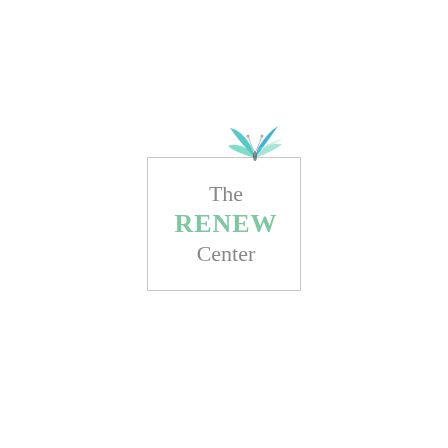[Figure (logo): The RENEW Center logo: a bordered rectangle containing the text 'The RENEW Center' in gray and green, with a stylized teal/green butterfly above the box.]